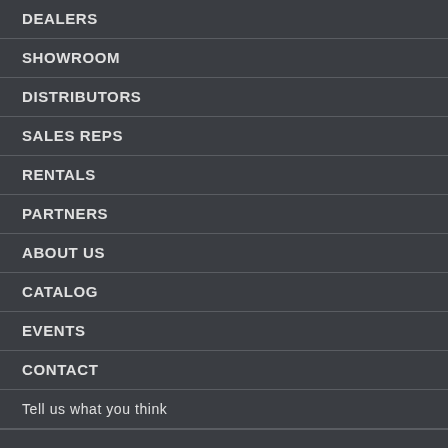DEALERS
SHOWROOM
DISTRIBUTORS
SALES REPS
RENTALS
PARTNERS
ABOUT US
CATALOG
EVENTS
CONTACT
Tell us what you think
PRODUCTS